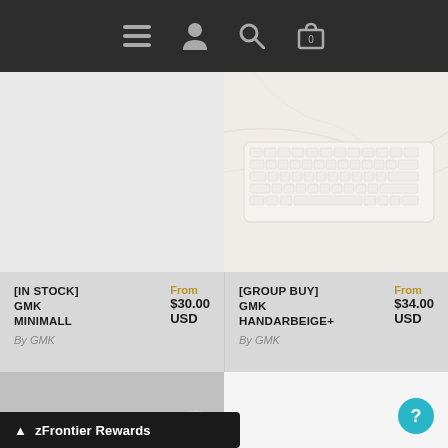Navigation bar with menu, user, search, and cart icons
[Figure (photo): Light gray empty product image placeholder for GMK MINIMALL]
[Figure (photo): White cream mechanical keyboard on marble surface - GMK HANDARBEIGE+]
[IN STOCK] GMK MINIMALL  From $30.00 USD  By GMK
[GROUP BUY] GMK HANDARBEIGE+  From $34.00 USD  By GMK
[Figure (photo): White and gray 75% mechanical keyboard product photo]
[Figure (photo): White empty product image placeholder]
zFrontier Rewards